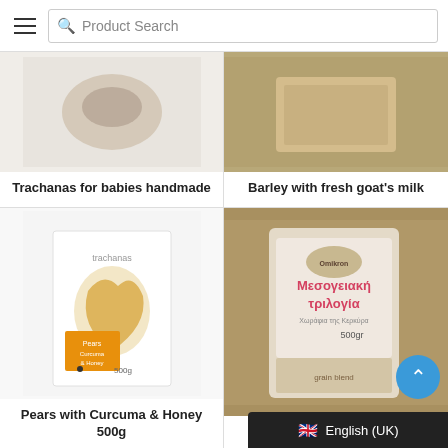[Figure (screenshot): Website product search bar with hamburger menu icon on the left and 'Product Search' placeholder text input field]
[Figure (photo): Product image of Trachanas for babies handmade]
Trachanas for babies handmade
[Figure (photo): Product image of Barley with fresh goat's milk on burlap background]
Barley with fresh goat's milk
[Figure (photo): Product image of Pears with Curcuma & Honey 500g in white box packaging]
Pears with Curcuma & Honey 500g
[Figure (photo): Product image of Mediterranean Trilogy (Corfu) - Μεσογειακή τριλογία 500gr package on burlap background]
Mediterranean Trilogy (Co...
[Figure (screenshot): English (UK) language selector in dark bar at bottom right, with UK flag emoji]
[Figure (screenshot): Blue scroll-to-top circular button]